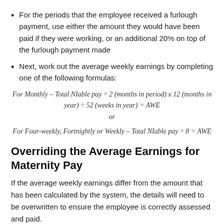For the periods that the employee received a furlough payment, use either the amount they would have been paid if they were working, or an additional 20% on top of the furlough payment made
Next, work out the average weekly earnings by completing one of the following formulas:
or
Overriding the Average Earnings for Maternity Pay
If the average weekly earnings differ from the amount that has been calculated by the system, the details will need to be overwritten to ensure the employee is correctly assessed and paid.